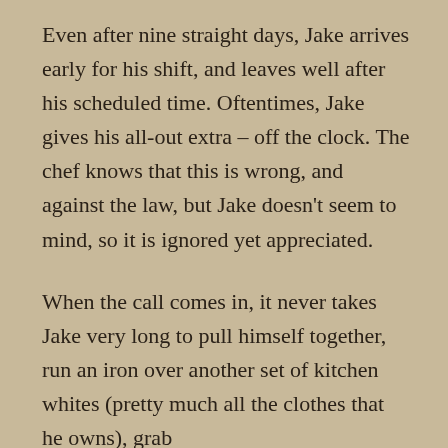Even after nine straight days, Jake arrives early for his shift, and leaves well after his scheduled time. Oftentimes, Jake gives his all-out extra – off the clock. The chef knows that this is wrong, and against the law, but Jake doesn't seem to mind, so it is ignored yet appreciated.
When the call comes in, it never takes Jake very long to pull himself together, run an iron over another set of kitchen whites (pretty much all the clothes that he owns), grab